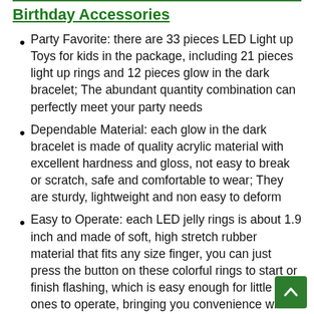Birthday Accessories
Party Favorite: there are 33 pieces LED Light up Toys for kids in the package, including 21 pieces light up rings and 12 pieces glow in the dark bracelet; The abundant quantity combination can perfectly meet your party needs
Dependable Material: each glow in the dark bracelet is made of quality acrylic material with excellent hardness and gloss, not easy to break or scratch, safe and comfortable to wear; They are sturdy, lightweight and non easy to deform
Easy to Operate: each LED jelly rings is about 1.9 inch and made of soft, high stretch rubber material that fits any size finger, you can just press the button on these colorful rings to start or finish flashing, which is easy enough for little ones to operate, bringing you convenience while creating happiness; Note: batteries are not replaceable